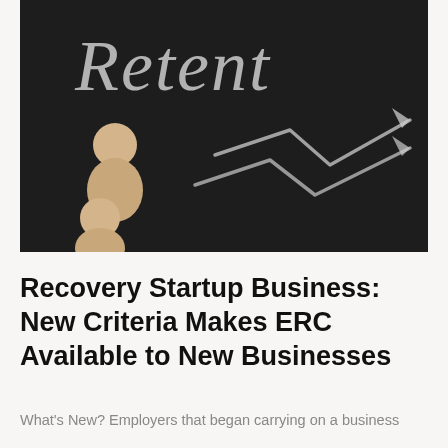[Figure (photo): A dark chalkboard background with chalk-written text 'Retent...' in cursive at the top and a zigzag arrow drawn in chalk, with wooden pawn figurines arranged on the left side.]
Recovery Startup Business: New Criteria Makes ERC Available to New Businesses
What's New? Employers that began carrying on a business